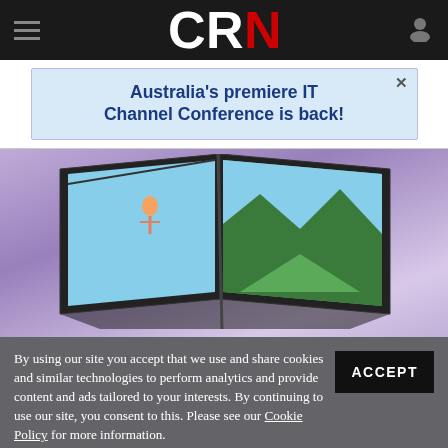CRN
[Figure (illustration): Advertisement banner: Australia's premiere IT Channel Conference is back!]
[Figure (photo): Product photo of a foldable tablet/laptop device displaying a person zip-lining over mountains on a purple background]
By using our site you accept that we use and share cookies and similar technologies to perform analytics and provide content and ads tailored to your interests. By continuing to use our site, you consent to this. Please see our Cookie Policy for more information.